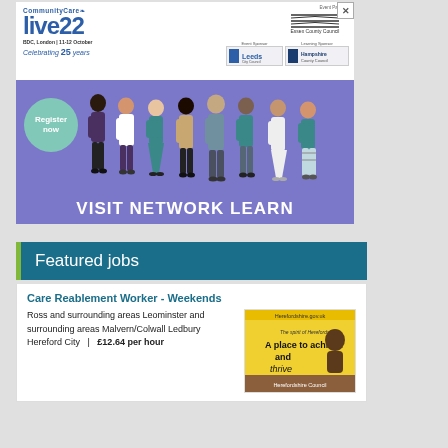[Figure (illustration): CommunityCare live22 event advertisement banner. BDC, London | 11-12 October. Celebrating 25 years. Event Partner: Essex County Council. Event Sponsor: Leeds City Council. Learning Sponsor: Hampshire County Council. Purple background with illustrated people. Green circle: 'Register now'. Bottom text: 'VISIT NETWORK LEARN'.]
Featured jobs
Care Reablement Worker - Weekends
Ross and surrounding areas Leominster and surrounding areas Malvern/Colwall Ledbury Hereford City | £12.64 per hour